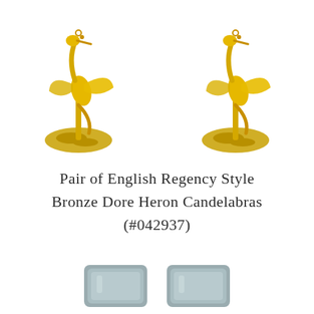[Figure (photo): Two gold/bronze dore heron candelabras shown from above, each featuring a heron bird figure standing on a decorative base with floral elements, rendered in golden yellow tones against white background.]
Pair of English Regency Style Bronze Dore Heron Candelabras (#042937)
[Figure (photo): Partial bottom view of what appears to be additional detail or base portions of the bronze dore heron candelabras, shown in muted blue-grey tones.]